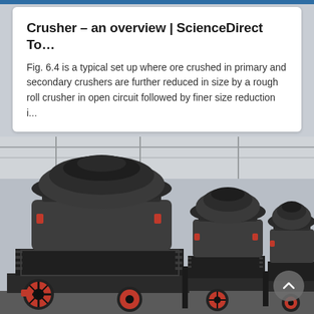Crusher – an overview | ScienceDirect To…
Fig. 6.4 is a typical set up where ore crushed in primary and secondary crushers are further reduced in size by a rough roll crusher in open circuit followed by finer size reduction i…
[Figure (photo): Photograph of multiple large industrial cone crushers in a factory/warehouse setting. The machines are dark grey/black with red accent components (bolts, wheels, and trim). They feature coiled springs around their bases and large red flywheel discs at the bottom. The background shows a steel-framed industrial building interior.]